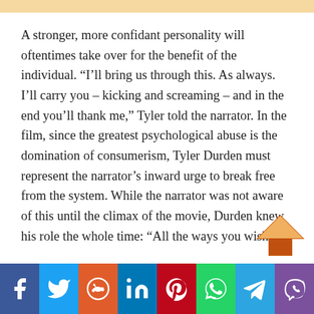A stronger, more confidant personality will oftentimes take over for the benefit of the individual. “I’ll bring us through this. As always. I’ll carry you – kicking and screaming – and in the end you’ll thank me,” Tyler told the narrator. In the film, since the greatest psychological abuse is the domination of consumerism, Tyler Durden must represent the narrator’s inward urge to break free from the system. While the narrator was not aware of this until the climax of the movie, Durden knew his role the whole time: “All the ways you wish you